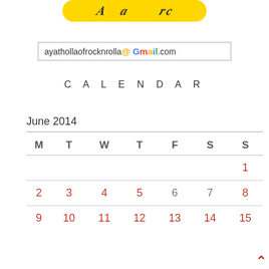[Figure (screenshot): Yellow rounded button with cursive/italic text partially visible at top of page]
[Figure (screenshot): Email input field showing ayathollaofrocknrolla@Gmail.com]
CALENDAR
| M | T | W | T | F | S | S |
| --- | --- | --- | --- | --- | --- | --- |
|  |  |  |  |  |  | 1 |
| 2 | 3 | 4 | 5 | 6 | 7 | 8 |
| 9 | 10 | 11 | 12 | 13 | 14 | 15 |